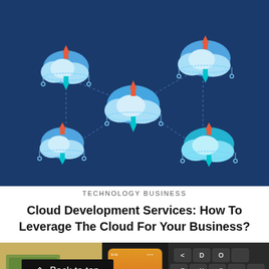[Figure (illustration): Dark blue background illustration showing five cloud icons arranged in a network pattern, each cloud having red upward arrows and teal/cyan downward arrows, connected by dotted lines suggesting data transfer in the cloud.]
TECHNOLOGY BUSINESS
Cloud Development Services: How To Leverage The Cloud For Your Business?
[Figure (photo): Photo showing US dollar bills, a smartphone, a laptop keyboard, and a coin — suggesting finance and technology.]